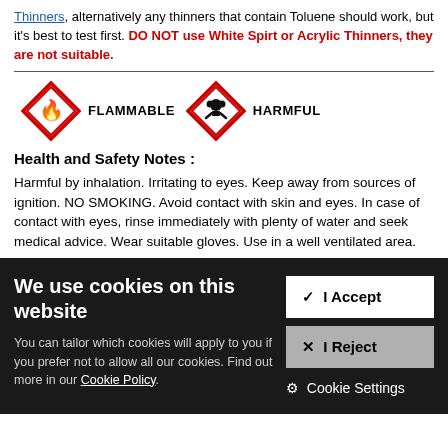Thinners, alternatively any thinners that contain Toluene should work, but it's best to test first. DO NOT use White Spirt or Acrylic Thinners, they are not suitable.
[Figure (infographic): Two GHS hazard diamond symbols: FLAMMABLE (flame icon) and HARMFUL (exclamation/skull icon), rendered in red and black.]
Health and Safety Notes :
Harmful by inhalation. Irritating to eyes. Keep away from sources of ignition. NO SMOKING. Avoid contact with skin and eyes. In case of contact with eyes, rinse immediately with plenty of water and seek medical advice. Wear suitable gloves. Use in a well ventilated area.
We use cookies on this website
You can tailor which cookies will apply to you if you prefer not to allow all our cookies. Find out more in our Cookie Policy.